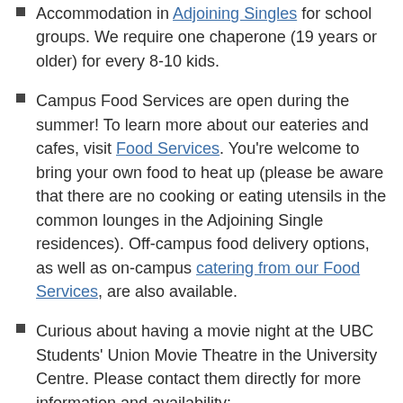Accommodation in Adjoining Singles for school groups. We require one chaperone (19 years or older) for every 8-10 kids.
Campus Food Services are open during the summer! To learn more about our eateries and cafes, visit Food Services. You're welcome to bring your own food to heat up (please be aware that there are no cooking or eating utensils in the common lounges in the Adjoining Single residences). Off-campus food delivery options, as well as on-campus catering from our Food Services, are also available.
Curious about having a movie night at the UBC Students' Union Movie Theatre in the University Centre. Please contact them directly for more information and availability: greentext.manager@ubcsuo.ca or 250-807-9280.
The following areas are available to use for any group at no cost, when available: ball hockey rink (bring your